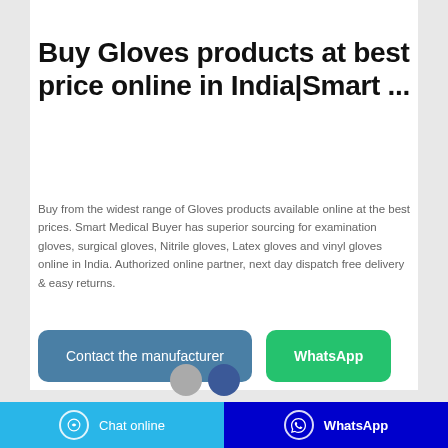[Figure (photo): Product image placeholder banner at top of page]
Buy Gloves products at best price online in India|Smart ...
Buy from the widest range of Gloves products available online at the best prices. Smart Medical Buyer has superior sourcing for examination gloves, surgical gloves, Nitrile gloves, Latex gloves and vinyl gloves online in India. Authorized online partner, next day dispatch free delivery & easy returns.
[Figure (screenshot): Contact the manufacturer button (blue) and WhatsApp button (green)]
[Figure (screenshot): Small social media icons at bottom]
Chat online   WhatsApp